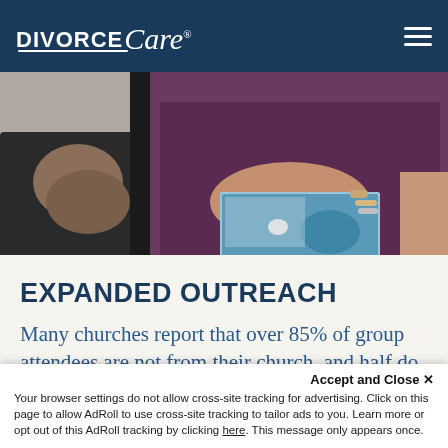DivorceCare
[Figure (photo): Two people sitting together, one holding a DivorceCare workbook/book. Hands clasped together on the left, person in purple/maroon top on the right holding a colorful book with bracelets visible.]
EXPANDED OUTREACH
Many churches report that over 85% of group attendees are not from their church, and half do not have an active spiritual life and are not followers of Christ.
Accept and Close ✕ Your browser settings do not allow cross-site tracking for advertising. Click on this page to allow AdRoll to use cross-site tracking to tailor ads to you. Learn more or opt out of this AdRoll tracking by clicking here. This message only appears once.